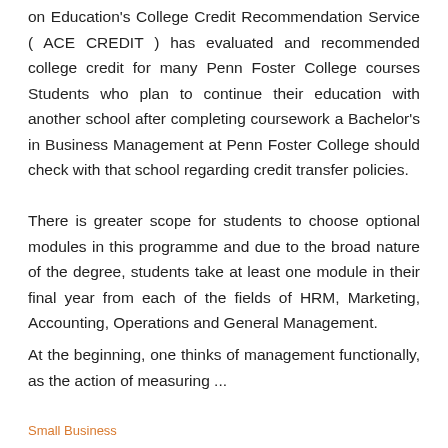on Education's College Credit Recommendation Service ( ACE CREDIT ) has evaluated and recommended college credit for many Penn Foster College courses Students who plan to continue their education with another school after completing coursework a Bachelor's in Business Management at Penn Foster College should check with that school regarding credit transfer policies.
There is greater scope for students to choose optional modules in this programme and due to the broad nature of the degree, students take at least one module in their final year from each of the fields of HRM, Marketing, Accounting, Operations and General Management.
At the beginning, one thinks of management functionally, as the action of measuring ...
Small Business